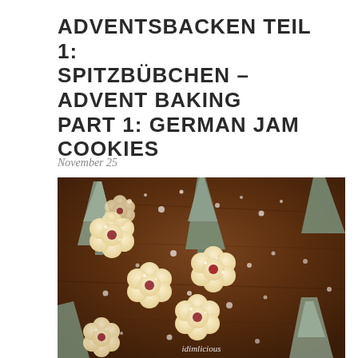ADVENTSBACKEN TEIL 1: SPITZBÜBCHEN – ADVENT BAKING PART 1: GERMAN JAM COOKIES
November 25
[Figure (photo): Overhead photo of flower-shaped German jam cookies (Spitzbübchen) dusted with powdered sugar, arranged on a dark wooden surface with decorative frosted miniature Christmas trees. A watermark reads 'idimēlicious' at the bottom.]